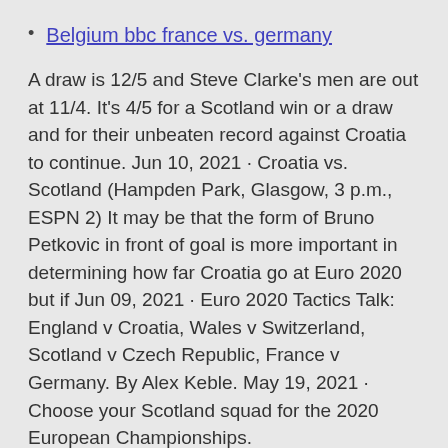Belgium bbc france vs. germany
A draw is 12/5 and Steve Clarke’s men are out at 11/4. It’s 4/5 for a Scotland win or a draw and for their unbeaten record against Croatia to continue. Jun 10, 2021 · Croatia vs. Scotland (Hampden Park, Glasgow, 3 p.m., ESPN 2) It may be that the form of Bruno Petkovic in front of goal is more important in determining how far Croatia go at Euro 2020 but if Jun 09, 2021 · Euro 2020 Tactics Talk: England v Croatia, Wales v Switzerland, Scotland v Czech Republic, France v Germany. By Alex Keble. May 19, 2021 · Choose your Scotland squad for the 2020 European Championships.